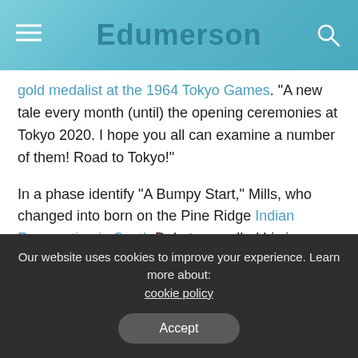Edumerson
gold medalist at the 1964 Tokyo Games. "A new tale every month (until) the opening ceremonies at Tokyo 2020. I hope you all can examine a number of them! Road to Tokyo!"
In a phase identify “A Bumpy Start,” Mills, who changed into born on the Pine Ridge Indian Reservation in South Dakota, recalled his journey to Japan and the drama that involved the appearance of his wife and many others. “I become a 1964 USA Olympic group member participating in the 10,000-meter run and the marathon,” Mills, now 81, wrote. “I arrived October 1, 1964, on a plane that carried most of the USA music and area
Our website uses cookies to improve your experience. Learn more about: cookie policy
Accept